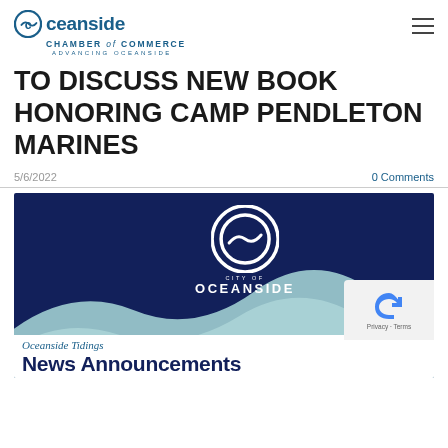[Figure (logo): Oceanside Chamber of Commerce logo with circular wave icon, blue text reading Oceanside Chamber of Commerce, Advancing Oceanside]
TO DISCUSS NEW BOOK HONORING CAMP PENDLETON MARINES
5/6/2022
0 Comments
[Figure (photo): City of Oceanside official logo on dark navy blue background with white circular wave logo and light teal wave design at bottom. Text reads CITY OF OCEANSIDE. Bottom overlay shows Oceanside Tidings News Announcements text.]
Oceanside Tidings
News Announcements